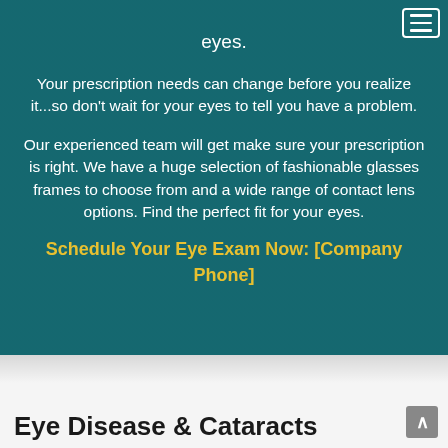eyes.
Your prescription needs can change before you realize it...so don't wait for your eyes to tell you have a problem.
Our experienced team will get make sure your prescription is right. We have a huge selection of fashionable glasses frames to choose from and a wide range of contact lens options. Find the perfect fit for your eyes.
Schedule Your Eye Exam Now: [Company Phone]
Eye Disease & Cataracts